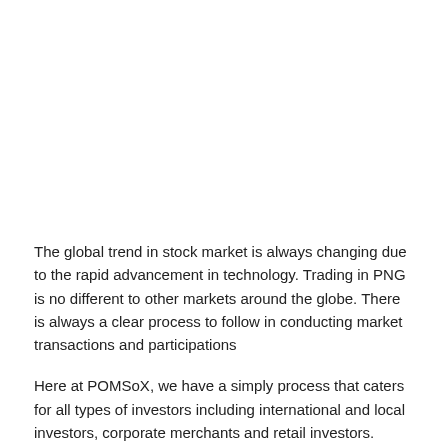The global trend in stock market is always changing due to the rapid advancement in technology. Trading in PNG is no different to other markets around the globe. There is always a clear process to follow in conducting market transactions and participations
Here at POMSoX, we have a simply process that caters for all types of investors including international and local investors, corporate merchants and retail investors.
POMSoX operates an electronic trading platform called the